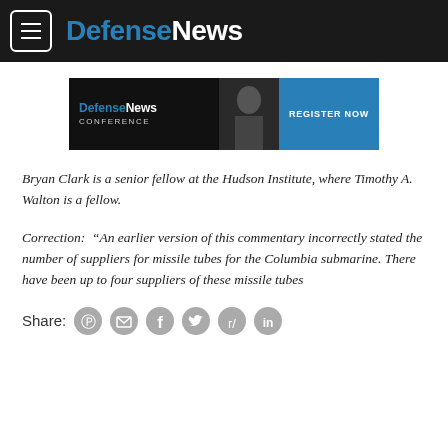DefenseNews
[Figure (other): Defense News Conference advertisement banner with Register Now button]
Bryan Clark is a senior fellow at the Hudson Institute, where Timothy A. Walton is a fellow.
Correction:  “An earlier version of this commentary incorrectly stated the number of suppliers for missile tubes for the Columbia submarine. There have been up to four suppliers of these missile tubes
Share: